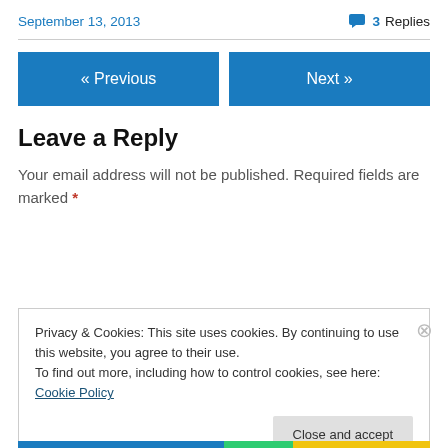September 13, 2013
💬 3 Replies
« Previous
Next »
Leave a Reply
Your email address will not be published. Required fields are marked *
Privacy & Cookies: This site uses cookies. By continuing to use this website, you agree to their use.
To find out more, including how to control cookies, see here: Cookie Policy
Close and accept